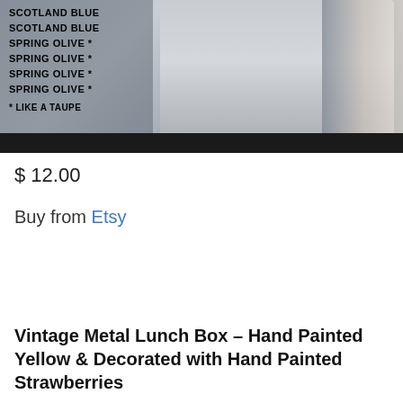[Figure (photo): Photo of folded gray/blue towels or fabric stacked on a dark shelf, with a semi-transparent overlay showing color names: SCOTLAND BLUE, SCOTLAND BLUE, SPRING OLIVE *, SPRING OLIVE *, SPRING OLIVE *, SPRING OLIVE * and a note * LIKE A TAUPE]
$ 12.00
Buy from Etsy
Vintage Metal Lunch Box – Hand Painted Yellow & Decorated with Hand Painted Strawberries